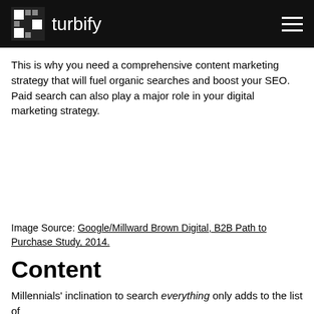turbify
This is why you need a comprehensive content marketing strategy that will fuel organic searches and boost your SEO. Paid search can also play a major role in your digital marketing strategy.
[Figure (other): Empty image placeholder area]
Image Source: Google/Millward Brown Digital, B2B Path to Purchase Study, 2014.
Content
Millennials' inclination to search everything only adds to the list of